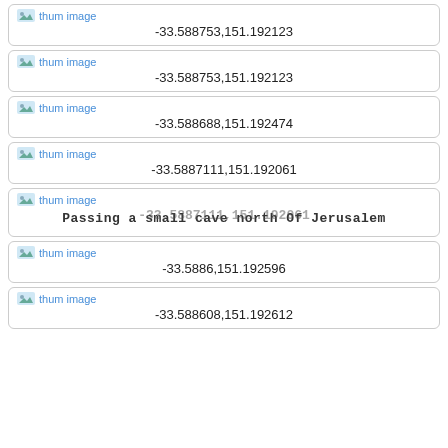[Figure (other): Thumbnail image placeholder with text 'thum image' and coordinates -33.588753,151.192123]
[Figure (other): Thumbnail image placeholder with text 'thum image' and coordinates -33.588753,151.192123]
[Figure (other): Thumbnail image placeholder with text 'thum image' and coordinates -33.588688,151.192474]
[Figure (other): Thumbnail image placeholder with text 'thum image' and coordinates -33.5887111,151.192061]
[Figure (other): Thumbnail image placeholder with text 'thum image' overlaid with 'Passing a small cave north Of Jerusalem' and coordinates -33.5887111,151.192061]
[Figure (other): Thumbnail image placeholder with text 'thum image' and coordinates -33.5886,151.192596]
[Figure (other): Thumbnail image placeholder with text 'thum image' and coordinates -33.588608,151.192612]